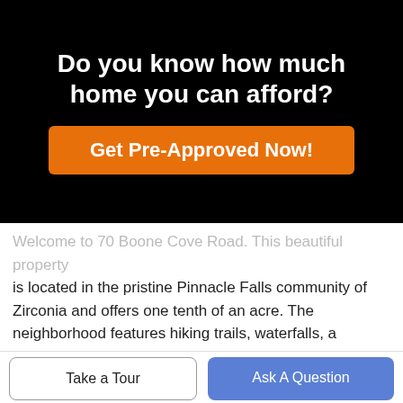Do you know how much home you can afford?
Get Pre-Approved Now!
Welcome to 70 Boone Cove Road. This beautiful property is located in the pristine Pinnacle Falls community of Zirconia and offers one tenth of an acre. The neighborhood features hiking trails, waterfalls, a community clubhouse and relaxing pool -- making this the
Take a Tour
Ask A Question